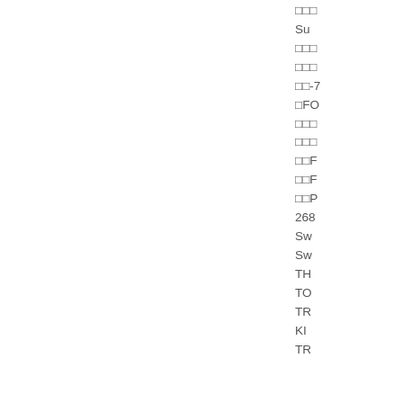□□□
Su
□□□
□□□
□□-7
□FO
□□□
□□□
□□F
□□F
□□P
268
Sw
Sw
TH
TO
TR
KI
TR